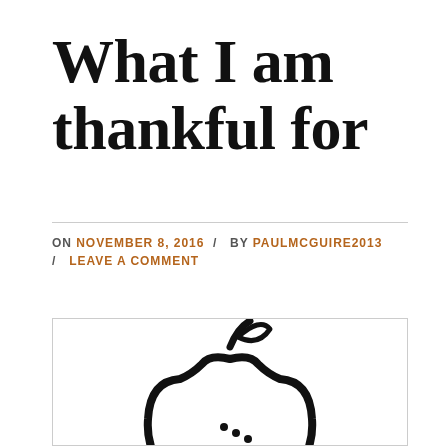What I am thankful for
ON NOVEMBER 8, 2016 / BY PAULMCGUIRE2013 / LEAVE A COMMENT
[Figure (illustration): Black and white line drawing of an apple with a leaf and stem, partially visible at the bottom of the page, inside a bordered box.]